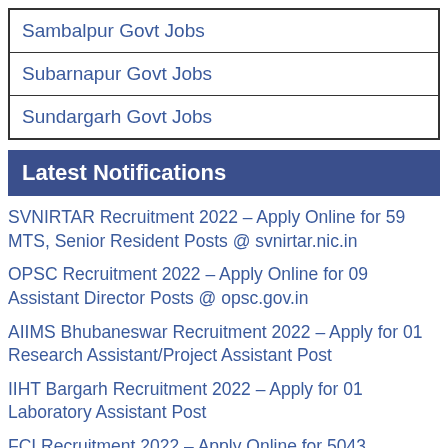Sambalpur Govt Jobs
Subarnapur Govt Jobs
Sundargarh Govt Jobs
Latest Notifications
SVNIRTAR Recruitment 2022 – Apply Online for 59 MTS, Senior Resident Posts @ svnirtar.nic.in
OPSC Recruitment 2022 – Apply Online for 09 Assistant Director Posts @ opsc.gov.in
AIIMS Bhubaneswar Recruitment 2022 – Apply for 01 Research Assistant/Project Assistant Post
IIHT Bargarh Recruitment 2022 – Apply for 01 Laboratory Assistant Post
FCI Recruitment 2022 – Apply Online for 5043 Assistant